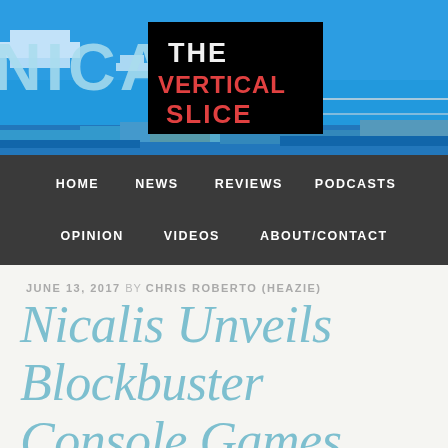[Figure (screenshot): Nicalis game banner with pixel art style blue sky, clouds, and pixel ground. White/light blue NICALIS text visible. The Vertical Slice logo overlaid in black box with white and red text.]
HOME   NEWS   REVIEWS   PODCASTS   OPINION   VIDEOS   ABOUT/CONTACT
JUNE 13, 2017 BY CHRIS ROBERTO (HEAZIE)
Nicalis Unveils Blockbuster Console Games